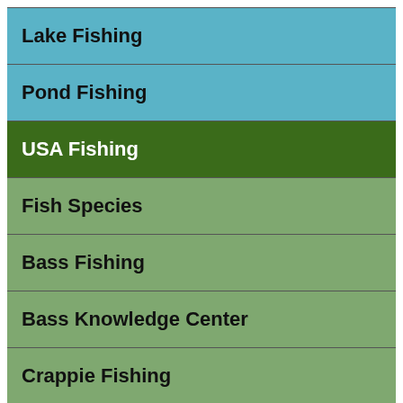Lake Fishing
Pond Fishing
USA Fishing
Fish Species
Bass Fishing
Bass Knowledge Center
Crappie Fishing
Catfish Fishing